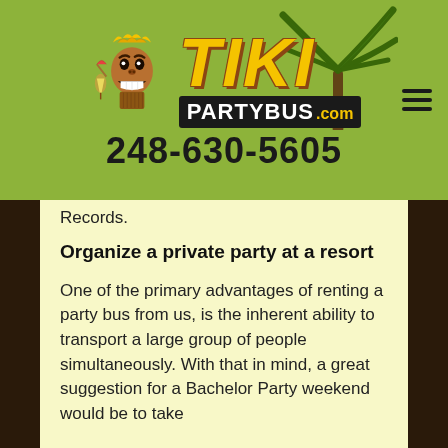[Figure (logo): Tiki Party Bus logo with tiki face mascot holding cocktail, large yellow italic TIKI text, PARTYBUS.com banner, phone number 248-630-5605, on green background with palm tree decoration and hamburger menu icon]
Records.
Organize a private party at a resort
One of the primary advantages of renting a party bus from us, is the inherent ability to transport a large group of people simultaneously. With that in mind, a great suggestion for a Bachelor Party weekend would be to take